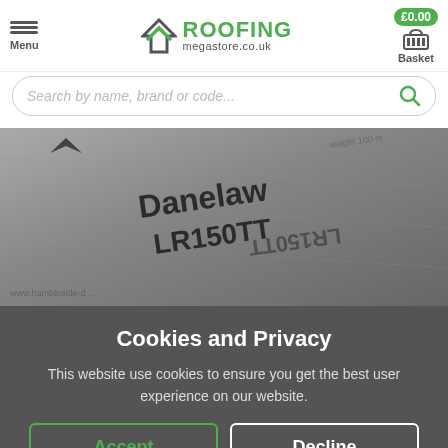Menu | ROOFING megastore.co.uk | £0.00 Basket
Search by name, brand or code...
[Figure (photo): Close-up photo of Danelaw LR150TT roofing membrane product with brand text visible]
Cookies and Privacy
This website use cookies to ensure you get the best user experience on our website.
Accept
Decline
Read our Privacy Policy